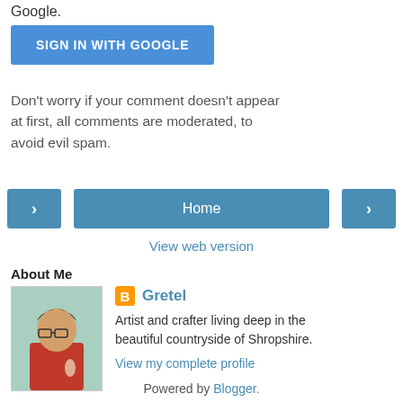Google.
[Figure (other): Blue 'SIGN IN WITH GOOGLE' button]
Don't worry if your comment doesn't appear at first, all comments are moderated, to avoid evil spam.
[Figure (other): Navigation bar with left arrow, Home button, and right arrow buttons]
View web version
About Me
[Figure (photo): Profile photo of Gretel, a person with glasses and short dark hair wearing a red top]
Gretel
Artist and crafter living deep in the beautiful countryside of Shropshire.
View my complete profile
Powered by Blogger.